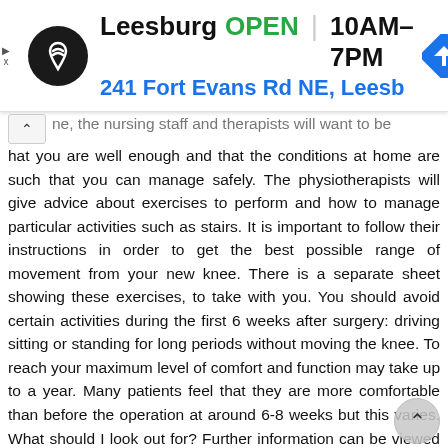[Figure (screenshot): Google Maps ad banner showing Leesburg store: OPEN 10AM-7PM, 241 Fort Evans Rd NE, Leesb, with navigation arrow icon]
ne, the nursing staff and therapists will want to be hat you are well enough and that the conditions at home are such that you can manage safely. The physiotherapists will give advice about exercises to perform and how to manage particular activities such as stairs. It is important to follow their instructions in order to get the best possible range of movement from your new knee. There is a separate sheet showing these exercises, to take with you. You should avoid certain activities during the first 6 weeks after surgery: driving sitting or standing for long periods without moving the knee. To reach your maximum level of comfort and function may take up to a year. Many patients feel that they are more comfortable than before the operation at around 6-8 weeks but this varies. What should I look out for? Further information can be viewed on the patient information pages at To reach your maximum level of comfort and function may take up to a year. Many patients feel that they are more comfortable